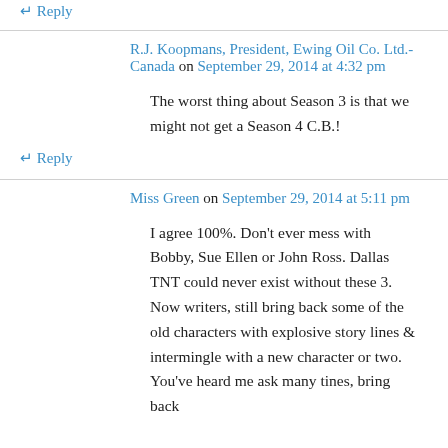↵ Reply
R.J. Koopmans, President, Ewing Oil Co. Ltd.-Canada on September 29, 2014 at 4:32 pm
The worst thing about Season 3 is that we might not get a Season 4 C.B.!
↵ Reply
Miss Green on September 29, 2014 at 5:11 pm
I agree 100%. Don't ever mess with Bobby, Sue Ellen or John Ross. Dallas TNT could never exist without these 3. Now writers, still bring back some of the old characters with explosive story lines & intermingle with a new character or two. You've heard me ask many tines, bring back